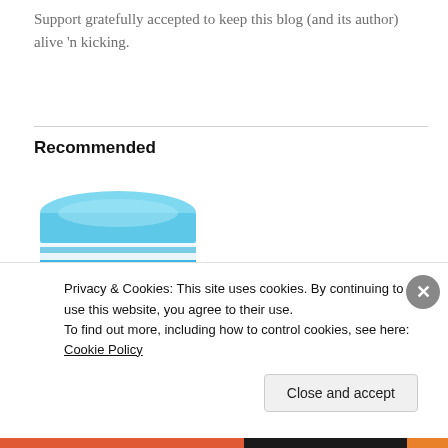Support gratefully accepted to keep this blog (and its author) alive 'n kicking.
Recommended
[Figure (photo): Vital Proteins Collagen Peptides product container — a white and blue cylindrical tub with a light blue lid, labeled 'Natural Whole Nutrition VITAL PROTEINS COLLAGEN PEPTIDES']
Privacy & Cookies: This site uses cookies. By continuing to use this website, you agree to their use.
To find out more, including how to control cookies, see here: Cookie Policy
Close and accept